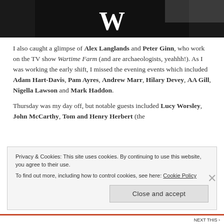[Figure (photo): Black tablecloth with large white W logo, bookshop/event setting]
I also caught a glimpse of Alex Langlands and Peter Ginn, who work on the TV show Wartime Farm (and are archaeologists, yeahhh!). As I was working the early shift, I missed the evening events which included Adam Hart-Davis, Pam Ayres, Andrew Marr, Hilary Devey, AA Gill, Nigella Lawson and Mark Haddon.
Thursday was my day off, but notable guests included Lucy Worsley, John McCarthy, Tom and Henry Herbert (the
Privacy & Cookies: This site uses cookies. By continuing to use this website, you agree to their use. To find out more, including how to control cookies, see here: Cookie Policy
Close and accept